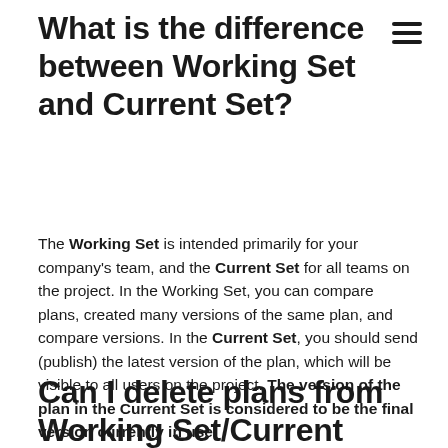What is the difference between Working Set and Current Set?
The Working Set is intended primarily for your company's team, and the Current Set for all teams on the project. In the Working Set, you can compare plans, created many versions of the same plan, and compare versions. In the Current Set, you should send (publish) the latest version of the plan, which will be visible to all users on the project. The version of the plan in the Current Set is considered to be the final version currently in use.
Can I delete plans from Working Set/Current Set?